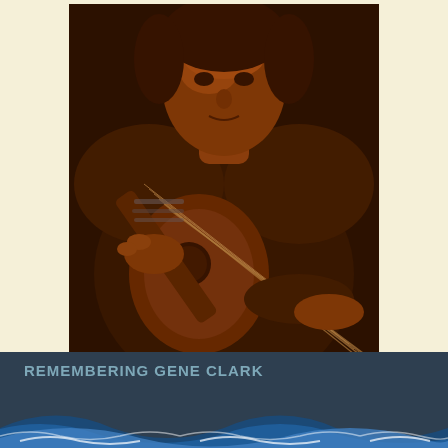[Figure (photo): Sepia/orange-tinted black and white photograph of Gene Clark, a man in a dark turtleneck sweater playing an acoustic guitar. He is seated and looking slightly downward. The photo has a warm brown-orange duotone color treatment.]
REMEMBERING GENE CLARK